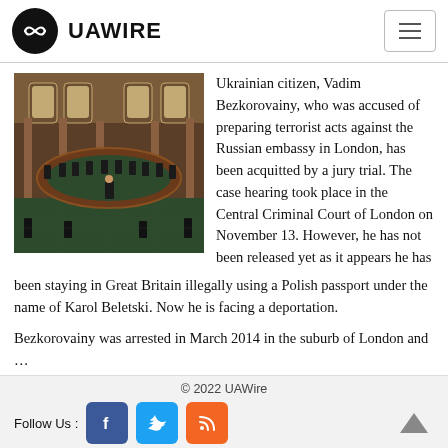UAWIRE
[Figure (photo): Overhead view of a circular courtroom with judges seated at a curved bench, people standing at the center podium, in a grand wood-paneled hall.]
Ukrainian citizen, Vadim Bezkorovainy, who was accused of preparing terrorist acts against the Russian embassy in London, has been acquitted by a jury trial. The case hearing took place in the Central Criminal Court of London on November 13. However, he has not been released yet as it appears he has been staying in Great Britain illegally using a Polish passport under the name of Karol Beletski. Now he is facing a deportation.
Bezkorovainy was arrested in March 2014 in the suburb of London and …
© 2022 UAWire